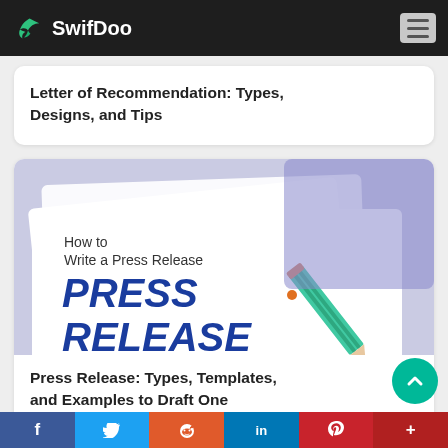SwifDoo
Letter of Recommendation: Types, Designs, and Tips
[Figure (illustration): Press release article thumbnail: white paper on blue/purple background with bold blue text 'PRESS RELEASE' and a teal pencil. Header text reads 'How to Write a Press Release'.]
Press Release: Types, Templates, and Examples to Draft One
f  Twitter  Reddit  in  Pinterest  +